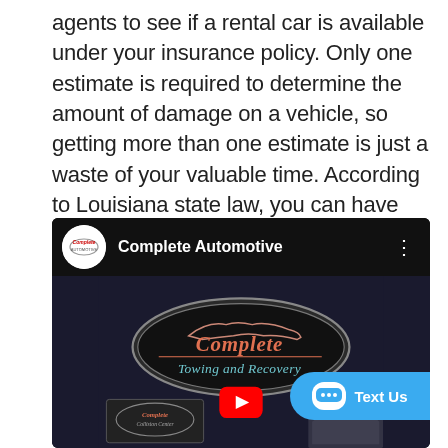agents to see if a rental car is available under your insurance policy. Only one estimate is required to determine the amount of damage on a vehicle, so getting more than one estimate is just a waste of your valuable time. According to Louisiana state law, you can have your vehicle towed to and repaired at any mechanic shop you desire.
[Figure (screenshot): YouTube video embed from Complete Automotive channel showing a Complete Towing and Recovery logo sign with a red YouTube play button overlay. A 'Text Us' chat button is visible in the lower right corner.]